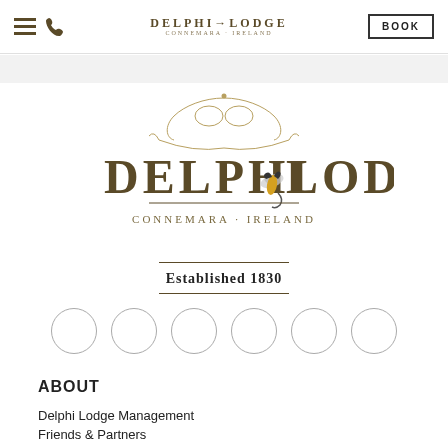Delphi Lodge | Connemara · Ireland | BOOK
[Figure (logo): Delphi Lodge logo with ornamental scrollwork, fishing fly graphic, text DELPHI LODGE, CONNEMARA · IRELAND]
Established 1830
[Figure (other): Six empty circular social media icon placeholders]
ABOUT
Delphi Lodge Management
Friends & Partners